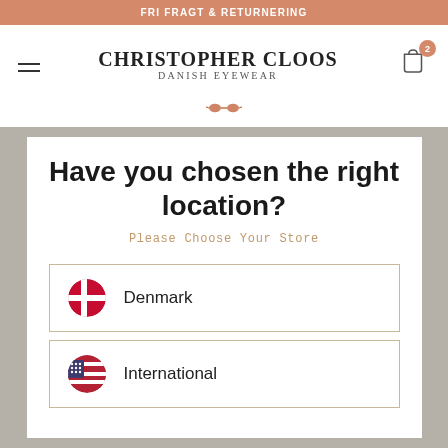FRI FRAGT & RETURNERING
[Figure (logo): Christopher Cloos Danish Eyewear logo with eyeglasses icon]
Have you chosen the right location?
Please Choose Your Store
Denmark
International